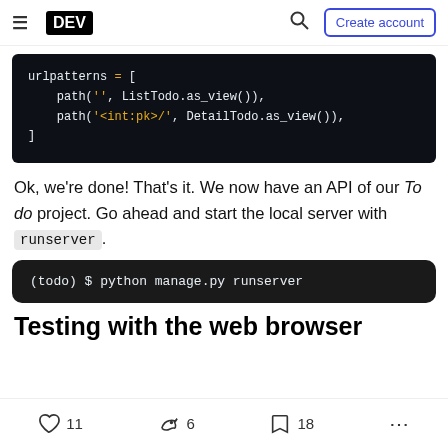DEV — navigation bar with hamburger menu, DEV logo, search icon, Create account button
[Figure (screenshot): Dark code block showing Python Django urlpatterns list with path() entries for ListTodo and DetailTodo views]
Ok, we're done! That's it. We now have an API of our To do project. Go ahead and start the local server with runserver.
[Figure (screenshot): Dark terminal command block: (todo) $ python manage.py runserver]
Testing with the web browser
11 likes, 6 unicorns, 18 bookmarks, more options